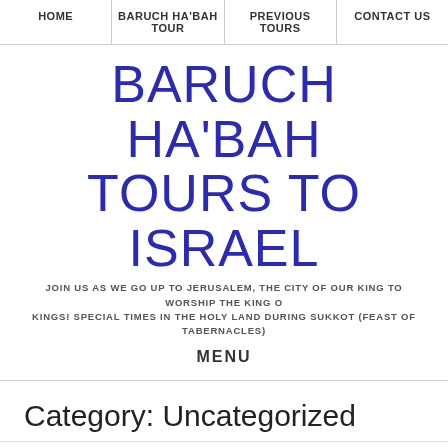HOME | BARUCH HA'BAH TOUR | PREVIOUS TOURS | CONTACT US
BARUCH HA'BAH TOURS TO ISRAEL
JOIN US AS WE GO UP TO JERUSALEM, THE CITY OF OUR KING TO WORSHIP THE KING O KINGS! SPECIAL TIMES IN THE HOLY LAND DURING SUKKOT (FEAST OF TABERNACLES)
MENU
Category: Uncategorized
[Figure (photo): Photo of ancient stone wall (Jerusalem city walls) with text overlay reading 'Israel Tour 2017, 11 to 23 November']